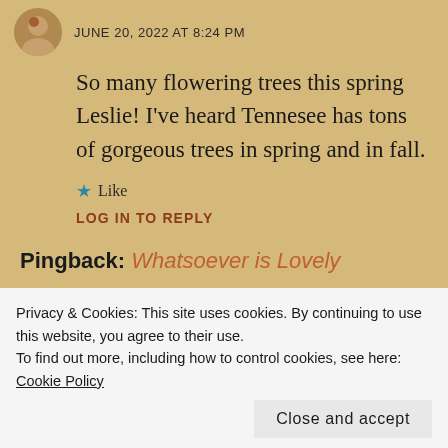[Figure (photo): Small circular avatar photo of a person]
JUNE 20, 2022 AT 8:24 PM
So many flowering trees this spring Leslie! I've heard Tennesee has tons of gorgeous trees in spring and in fall.
★ Like
LOG IN TO REPLY
Pingback: Whatsoever is Lovely
Privacy & Cookies: This site uses cookies. By continuing to use this website, you agree to their use.
To find out more, including how to control cookies, see here: Cookie Policy
Close and accept
[Figure (photo): Small square avatar with purple/yellow background]
JUNE 18, 2022 AT 3:40 PM